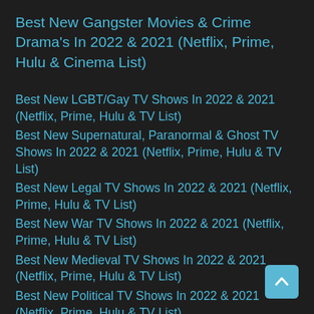Best New Gangster Movies & Crime Drama's In 2022 & 2021 (Netflix, Prime, Hulu & Cinema List)
Best New LGBT/Gay TV Shows In 2022 & 2021 (Netflix, Prime, Hulu & TV List)
Best New Supernatural, Paranormal & Ghost TV Shows In 2022 & 2021 (Netflix, Prime, Hulu & TV List)
Best New Legal TV Shows In 2022 & 2021 (Netflix, Prime, Hulu & TV List)
Best New War TV Shows In 2022 & 2021 (Netflix, Prime, Hulu & TV List)
Best New Medieval TV Shows In 2022 & 2021 (Netflix, Prime, Hulu & TV List)
Best New Political TV Shows In 2022 & 2021 (Netflix, Prime, Hulu & TV List)
Best New Time Travel TV Shows In 2022 & 2021 (Netflix, Prime, Hulu & TV List)
Best New Space & Alien TV Shows In 2022 & 2021